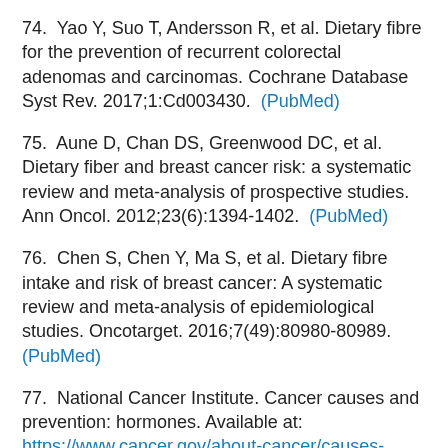74. Yao Y, Suo T, Andersson R, et al. Dietary fibre for the prevention of recurrent colorectal adenomas and carcinomas. Cochrane Database Syst Rev. 2017;1:Cd003430. (PubMed)
75. Aune D, Chan DS, Greenwood DC, et al. Dietary fiber and breast cancer risk: a systematic review and meta-analysis of prospective studies. Ann Oncol. 2012;23(6):1394-1402. (PubMed)
76. Chen S, Chen Y, Ma S, et al. Dietary fibre intake and risk of breast cancer: A systematic review and meta-analysis of epidemiological studies. Oncotarget. 2016;7(49):80980-80989. (PubMed)
77. National Cancer Institute. Cancer causes and prevention: hormones. Available at: https://www.cancer.gov/about-cancer/causes-prevention/risk/hormones. Accessed 3/1/19.